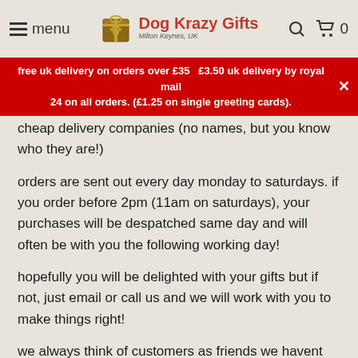menu | Dog Krazy Gifts Milton Keynes, UK | search | cart 0
free uk delivery on orders over £35   £3.50 uk delivery by royal mail 24 on all orders. (£1.25 on single greeting cards).
cheap delivery companies (no names, but you know who they are!)
orders are sent out every day monday to saturdays. if you order before 2pm (11am on saturdays), your purchases will be despatched same day and will often be with you the following working day!
hopefully you will be delighted with your gifts but if not, just email or call us and we will work with you to make things right!
we always think of customers as friends we havent met yet (you love dogs... so we know we would be